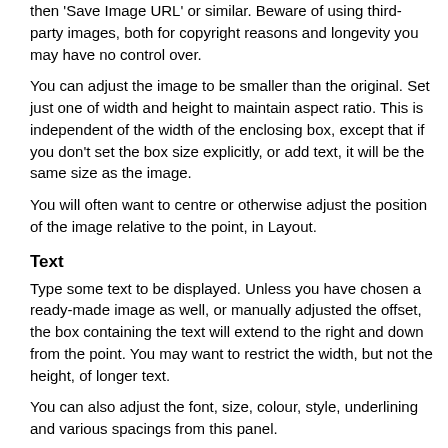then 'Save Image URL' or similar. Beware of using third-party images, both for copyright reasons and longevity you may have no control over.
You can adjust the image to be smaller than the original. Set just one of width and height to maintain aspect ratio. This is independent of the width of the enclosing box, except that if you don't set the box size explicitly, or add text, it will be the same size as the image.
You will often want to centre or otherwise adjust the position of the image relative to the point, in Layout.
Text
Type some text to be displayed. Unless you have chosen a ready-made image as well, or manually adjusted the offset, the box containing the text will extend to the right and down from the point. You may want to restrict the width, but not the height, of longer text.
You can also adjust the font, size, colour, style, underlining and various spacings from this panel.
Layout
These settings control how the box, image and text are positioned in relation to each other.
The offset of the top-left corner of the box will often be negative to move the box up and to the left.